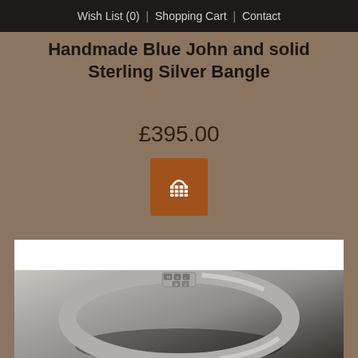Wish List (0) | Shopping Cart | Contact
Handmade Blue John and solid Sterling Silver Bangle
£395.00
[Figure (illustration): Add to cart button with shopping basket icon]
[Figure (photo): Close-up photo of a silver bangle showing hallmarks on the top surface, with a rounded silver band curving into the frame]